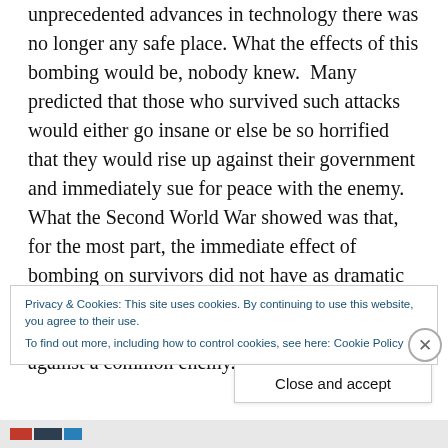unprecedented advances in technology there was no longer any safe place. What the effects of this bombing would be, nobody knew.  Many predicted that those who survived such attacks would either go insane or else be so horrified that they would rise up against their government and immediately sue for peace with the enemy. What the Second World War showed was that, for the most part, the immediate effect of bombing on survivors did not have as dramatic an effect as predicted and in some ways even helped to unite diverse strands of opinion against a common enemy.
Privacy & Cookies: This site uses cookies. By continuing to use this website, you agree to their use.
To find out more, including how to control cookies, see here: Cookie Policy
Close and accept